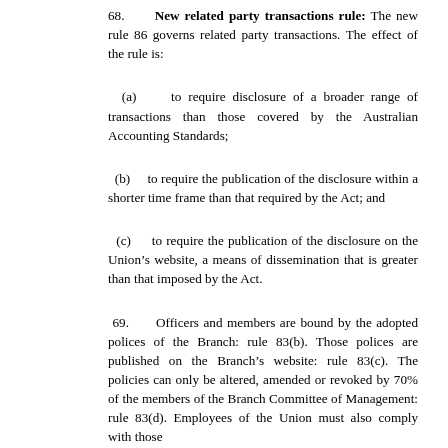68. New related party transactions rule: The new rule 86 governs related party transactions. The effect of the rule is:
(a) to require disclosure of a broader range of transactions than those covered by the Australian Accounting Standards;
(b) to require the publication of the disclosure within a shorter time frame than that required by the Act; and
(c) to require the publication of the disclosure on the Union’s website, a means of dissemination that is greater than that imposed by the Act.
69. Officers and members are bound by the adopted polices of the Branch: rule 83(b). Those polices are published on the Branch’s website: rule 83(c). The policies can only be altered, amended or revoked by 70% of the members of the Branch Committee of Management: rule 83(d). Employees of the Union must also comply with those